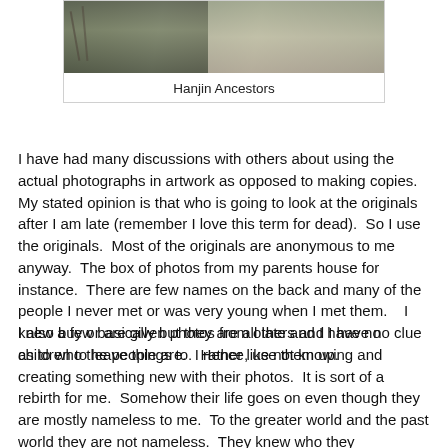[Figure (photo): Photograph showing what appears to be jars or containers, likely related to ancestors or heritage items]
Hanjin Ancestors
I have had many discussions with others about using the actual photographs in artwork as opposed to making copies.  My stated opinion is that who is going to look at the originals after I am late (remember I love this term for dead).  So I use the originals.  Most of the originals are anonymous to me anyway.  The box of photos from my parents house for instance.  There are few names on the back and many of the people I never met or was very young when I met them.   I knew a few basically but they are all late and I have no children to leave things to.  Hence, use them up.
I also buy or are given photos from others and I have no clue as to who the people are.  I rather like not knowing and creating something new with their photos.  It is sort of a rebirth for me.  Somehow their life goes on even though they are mostly nameless to me.  To the greater world and the past world they are not nameless.  They knew who they